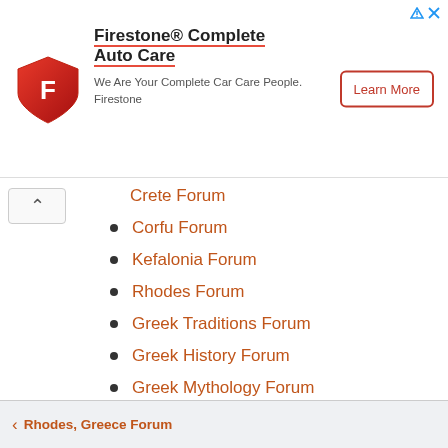[Figure (infographic): Firestone Complete Auto Care advertisement banner with red shield logo, bold title, subtitle text, and Learn More button]
Crete Forum
Corfu Forum
Kefalonia Forum
Rhodes Forum
Greek Traditions Forum
Greek History Forum
Greek Mythology Forum
Follow WorldwideGreeks.com:
[Figure (infographic): Social media icons: Facebook, Instagram, Twitter]
Rhodes, Greece Forum